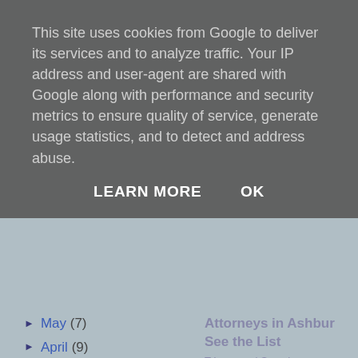This site uses cookies from Google to deliver its services and to analyze traffic. Your IP address and user-agent are shared with Google along with performance and security metrics to ensure quality of service, generate usage statistics, and to detect and address abuse.
LEARN MORE    OK
▶ May (7)
▶ April (9)
▶ March (45)
▶ February (76)
▶ January (51)
▶ 2019 (705)
▶ 2018 (744)
▶ 2017 (568)
Attorneys in Ashburn See the List
T Lawyers | Search
[Figure (photo): Photo of a blonde woman in a beige dress at what appears to be a Choice Awards event]
10 Most Beautiful